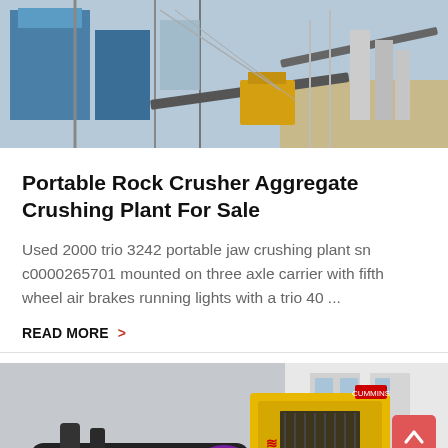[Figure (photo): Industrial rock crushing plant equipment with blue structures and conveyors]
Portable Rock Crusher Aggregate Crushing Plant For Sale
Used 2000 trio 3242 portable jaw crushing plant sn c0000265701 mounted on three axle carrier with fifth wheel air brakes running lights with a trio 40 ...
READ MORE >
[Figure (photo): Yellow industrial generator/compressor equipment in an outdoor industrial setting]
Leave Message
Chat Online